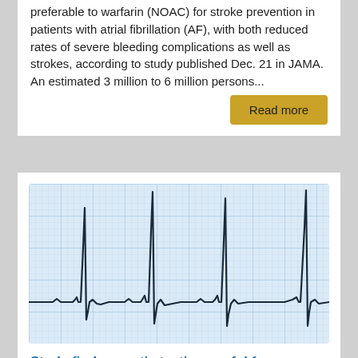preferable to warfarin (NOAC) for stroke prevention in patients with atrial fibrillation (AF), with both reduced rates of severe bleeding complications as well as strokes, according to study published Dec. 21 in JAMA. An estimated 3 million to 6 million persons...
Read more
[Figure (photo): Close-up photo of an ECG (electrocardiogram) strip on blue grid paper showing a cardiac rhythm trace with characteristic QRS complexes.]
Study finds genetic testing useful for young AFib patients